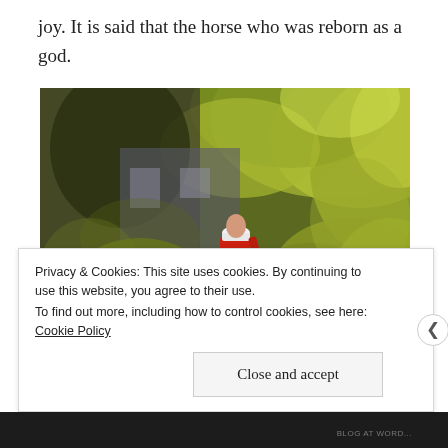joy. It is said that the horse who was reborn as a god.
[Figure (photo): An oil-painting-style photo of a person in a red jacket and white cap walking among large lush green trees, with a house visible in the background and a dog near the bottom left.]
Privacy & Cookies: This site uses cookies. By continuing to use this website, you agree to their use.
To find out more, including how to control cookies, see here: Cookie Policy
Close and accept